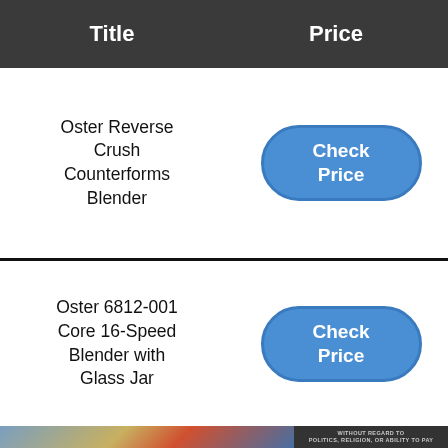| Title | Price |
| --- | --- |
| Oster Reverse Crush Counterforms Blender | Check Price |
| Oster 6812-001 Core 16-Speed Blender with Glass Jar | Check Price |
[Figure (photo): Photograph of an airplane being loaded with cargo, with a dark banner reading WITHOUT REGARD TO on the right side]